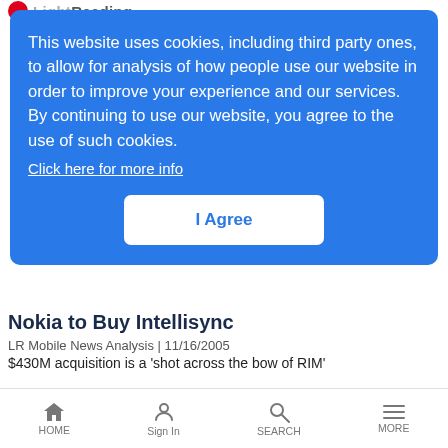Light Reading
This website uses cookies, including third party ones, to allow for analysis of how people use our website in order to improve your experience and our services. By continuing to use our website, you agree to the use of such cookies.
Click here for more info
I Agree
Nokia to Buy Intellisync
LR Mobile News Analysis | 11/16/2005
$430M acquisition is a 'shot across the bow of RIM'
Will IPTV Bloom in 2006?
News Analysis | 11/16/2005
HOME  Sign In  SEARCH  MORE